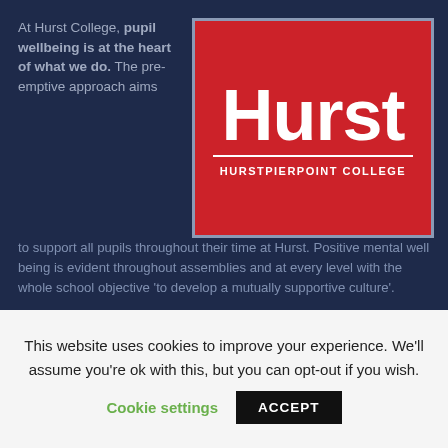At Hurst College, pupil wellbeing is at the heart of what we do. The pre-emptive approach aims to support all pupils throughout their time at Hurst. Positive mental well being is evident throughout assemblies and at every level with the whole school objective 'to develop a mutually supportive culture'.
[Figure (logo): Hurstpierpoint College logo: red background with 'Hurst' in large white bold text, a white horizontal line, and 'HURSTPIERPOINT COLLEGE' in white capital letters below.]
This website uses cookies to improve your experience. We'll assume you're ok with this, but you can opt-out if you wish.
Cookie settings    ACCEPT